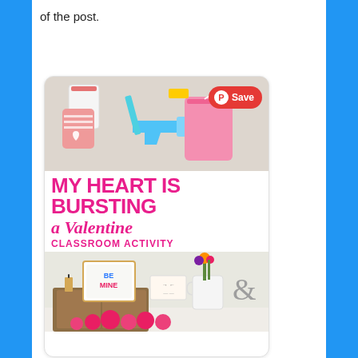of the post.
[Figure (screenshot): Pinterest-style card with a photo of craft supplies (cups, glue gun, pink bag), bold text 'MY HEART IS BURSTING a Valentine CLASSROOM ACTIVITY', and a bottom photo of a valentine-themed room decoration with 'BE MINE' sign, flowers, ampersand, and pink heart shapes. A red 'Save' button with Pinterest logo appears in the top right of the card.]